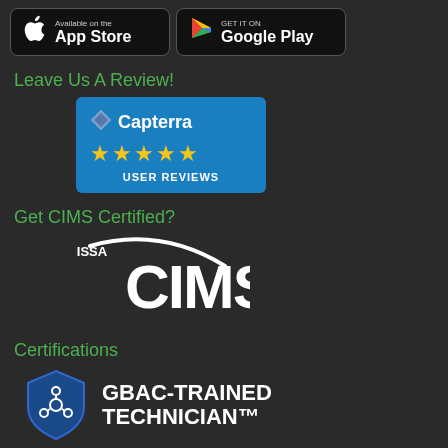[Figure (logo): App Store and Google Play download badges on dark background]
Leave Us A Review!
[Figure (logo): Capterra 5-star user reviews badge with blue background and yellow stars]
Get CIMS Certified?
[Figure (logo): ISSA CIMS certification logo in white on dark background]
Certifications
[Figure (logo): GBAC-Trained Technician badge with blue shield and biohazard icon]